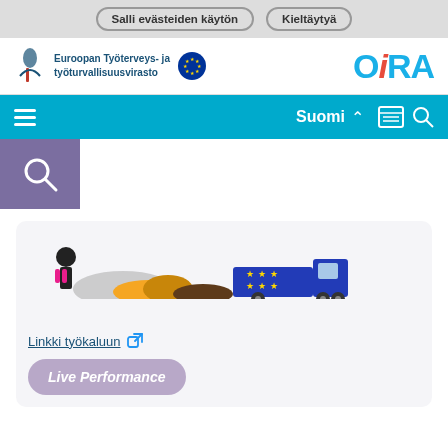Salli evästeiden käytön   Kieltäytyä
[Figure (logo): EU Agency logo: Euroopan Työterveys- ja työturvallisuusvirasto with EU flag, and OiRA logo on the right]
[Figure (screenshot): Navigation bar with hamburger menu, Suomi language selector, newspaper and search icons]
[Figure (screenshot): Purple search box with magnifying glass icon]
[Figure (illustration): Truck/transport scene illustration with EU stars, person figures in pink/dark colors, yellow and grey shapes]
Linkki työkaluun
Live Performance